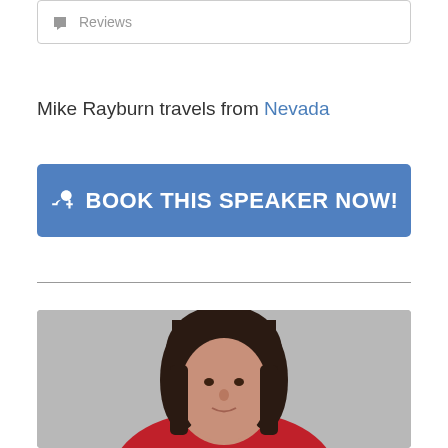Reviews
Mike Rayburn travels from Nevada
BOOK THIS SPEAKER NOW!
[Figure (photo): Portrait photo of a person with dark hair, wearing a red top, photographed against a gray background. Only the upper portion of the head/face is visible.]